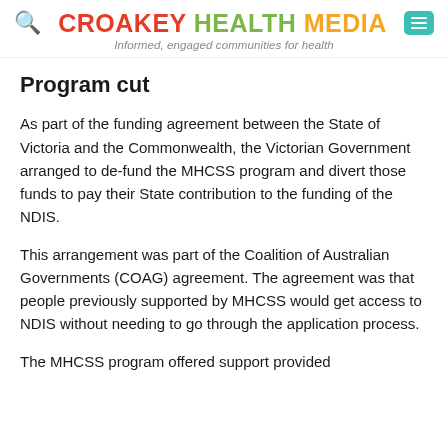CROAKEY HEALTH MEDIA — Informed, engaged communities for health
Program cut
As part of the funding agreement between the State of Victoria and the Commonwealth, the Victorian Government arranged to de-fund the MHCSS program and divert those funds to pay their State contribution to the funding of the NDIS.
This arrangement was part of the Coalition of Australian Governments (COAG) agreement. The agreement was that people previously supported by MHCSS would get access to NDIS without needing to go through the application process.
The MHCSS program offered support provided